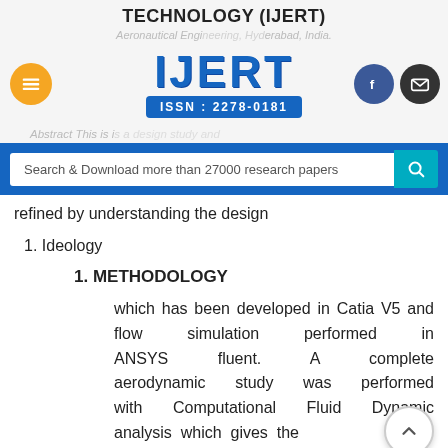TECHNOLOGY (IJERT)
Aeronautical Engineering, Hyderabad, India.
[Figure (logo): IJERT logo with ISSN: 2278-0181 badge, hamburger menu button in orange, and Facebook/mail social buttons]
Abstract This is a design study and
Search & Download more than 27000 research papers
refined by understanding the design
1. Ideology
1. METHODOLOGY
which has been developed in Catia V5 and flow simulation performed in ANSYS fluent. A complete aerodynamic study was performed with Computational Fluid Dynamic analysis which gives the